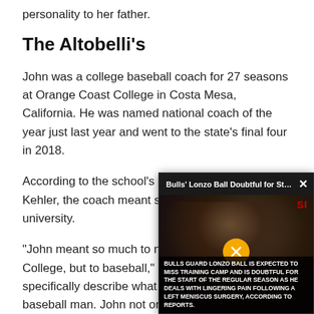personality to her father.
The Altobelli's
John was a college baseball coach for 27 seasons at Orange Coast College in Costa Mesa, California. He was named national coach of the year just last year and went to the state's final four in 2018.
According to the school's athletic director, Jason Kehler, the coach meant so much more than the university.
“John meant so much to not only Orange Coast College, but to baseball,” Kehler said. “It’s hard to specifically describe what it means to be a baseball man. John not only knew the game, but more im the game, but more im to none — he treated t
[Figure (screenshot): Video overlay popup titled 'Bulls' Lonzo Ball Doubtful for Start of N...' with an X close button, showing a blurry photo of a basketball player (Bulls guard), a muted/unmuted button (yellow circle with mute icon), SI logo in red, and caption text: 'BULLS GUARD LONZO BALL IS EXPECTED TO MISS TRAINING CAMP AND IS DOUBTFUL FOR THE START OF THE REGULAR SEASON AS HE DEALS WITH LINGERING PAIN FOLLOWING A LEFT MENISCUS SURGERY, ACCORDING TO REPORTS.']